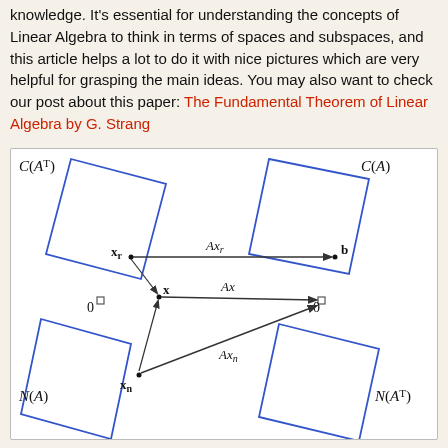knowledge. It's essential for understanding the concepts of Linear Algebra to think in terms of spaces and subspaces, and this article helps a lot to do it with nice pictures which are very helpful for grasping the main ideas. You may also want to check our post about this paper: The Fundamental Theorem of Linear Algebra by G. Strang
[Figure (engineering-diagram): Diagram of the Fundamental Theorem of Linear Algebra showing four subspaces: C(A^T) (row space, top-left blue diamond), C(A) (column space, top-right blue diamond), N(A) (null space, bottom-left blue diamond), N(A^T) (left null space, bottom-right blue diamond). Vectors x_r, x, x_n on the left side and b, 0 on the right side with arrows showing mappings Ax_r, Ax, Ax_n.]